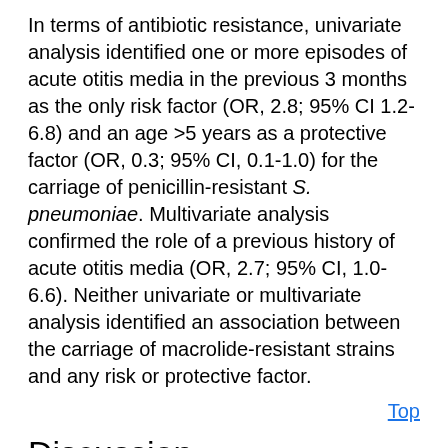In terms of antibiotic resistance, univariate analysis identified one or more episodes of acute otitis media in the previous 3 months as the only risk factor (OR, 2.8; 95% CI 1.2-6.8) and an age >5 years as a protective factor (OR, 0.3; 95% CI, 0.1-1.0) for the carriage of penicillin-resistant S. pneumoniae. Multivariate analysis confirmed the role of a previous history of acute otitis media (OR, 2.7; 95% CI, 1.0-6.6). Neither univariate or multivariate analysis identified an association between the carriage of macrolide-resistant strains and any risk or protective factor.
Top
Discussion
S. pneumoniae was carried by 8.6% of the 2,799 healthy children. Possible reasons for this low